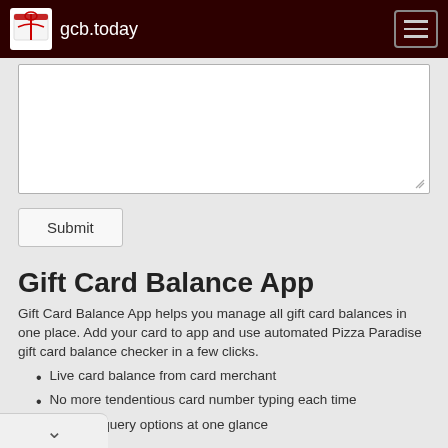gcb.today
[Figure (screenshot): Text area input box (white rectangle) for form input]
Submit
Gift Card Balance App
Gift Card Balance App helps you manage all gift card balances in one place. Add your card to app and use automated Pizza Paradise gift card balance checker in a few clicks.
Live card balance from card merchant
No more tendentious card number typing each time
Balance query options at one glance